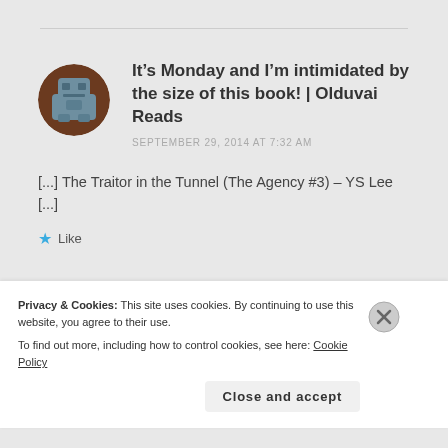It’s Monday and I’m intimidated by the size of this book! | Olduvai Reads
SEPTEMBER 29, 2014 AT 7:32 AM
[...] The Traitor in the Tunnel (The Agency #3) – YS Lee [...]
★ Like
Privacy & Cookies: This site uses cookies. By continuing to use this website, you agree to their use.
To find out more, including how to control cookies, see here: Cookie Policy
Close and accept